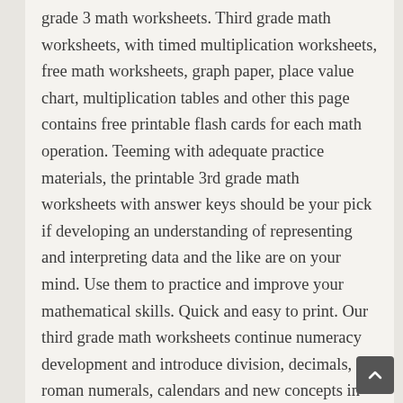grade 3 math worksheets. Third grade math worksheets, with timed multiplication worksheets, free math worksheets, graph paper, place value chart, multiplication tables and other this page contains free printable flash cards for each math operation. Teeming with adequate practice materials, the printable 3rd grade math worksheets with answer keys should be your pick if developing an understanding of representing and interpreting data and the like are on your mind. Use them to practice and improve your mathematical skills. Quick and easy to print. Our third grade math worksheets continue numeracy development and introduce division, decimals, roman numerals, calendars and new concepts in measurement and geometry. Great for the student who's learning her multiplication tables. Take a look at our times table coloring pages, or. This valentine's day math worksheet involves multiplying single digit numbers; Developing an understanding of multiplication and division and strategies for multiplication and division Christmas math worksheets math coloring worksheets